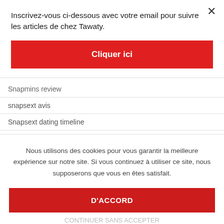Inscrivez-vous ci-dessous avec votre email pour suivre les articles de chez Tawaty.
Cliquer ici
Snapmins review
snapsext avis
Snapsext dating timeline
Snapsext meet site
Snapsext recenzia
Nous utilisons des cookies pour vous garantir la meilleure expérience sur notre site. Si vous continuez à utiliser ce site, nous supposerons que vous en êtes satisfait.
D'ACCORD